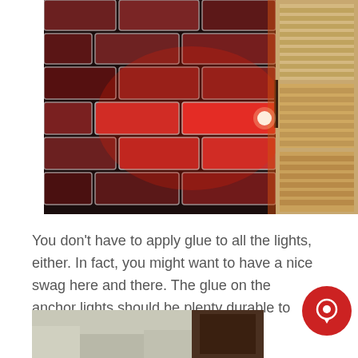[Figure (photo): Photo of a red brick wall with a bright red illuminated area suggesting a light source, and a window with horizontal blinds on the right side. A small bright dot (light) is visible in the center-right area.]
You don't have to apply glue to all the lights, either. In fact, you might want to have a nice swag here and there. The glue on the anchor lights should be plenty durable to support several unglued lig
[Figure (photo): Partial photo visible at the bottom of the page, appears to show an outdoor snowy or rocky scene.]